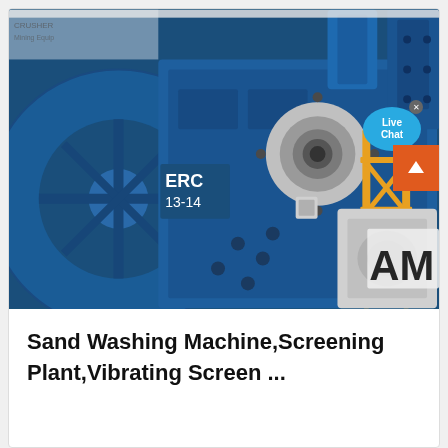[Figure (photo): Close-up photograph of a large blue industrial machine (ERC 13-14 labeled) with yellow safety railings and silver mechanical components. A 'Live Chat' speech bubble overlay appears in the top right. Partial 'AM' logo visible at bottom right.]
Sand Washing Machine,Screening Plant,Vibrating Screen ...